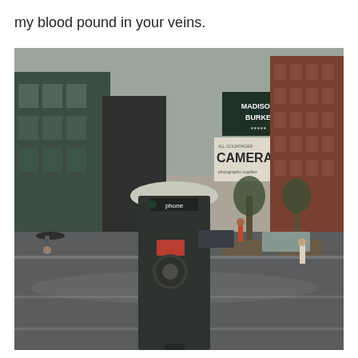my blood pound in your veins.
[Figure (photo): A vintage photograph of a city street scene on a rainy day. In the foreground, a green public payphone booth stands prominently with a 'phone' label visible. The wet street reflects the overcast sky. In the background, urban buildings are visible including signs reading 'MADISON BURKE' and 'CAMERAS'. A parking sign is visible on the right side. Pedestrians with umbrellas and passing cars can be seen in the background.]